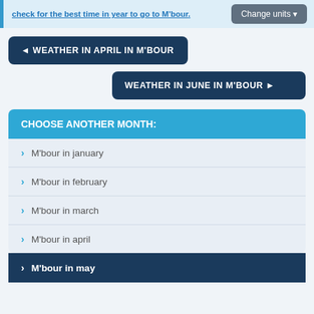check for the best time in year to go to M'bour.
Change units ▾
◄ WEATHER IN APRIL IN M'BOUR
WEATHER IN JUNE IN M'BOUR ►
CHOOSE ANOTHER MONTH:
M'bour in january
M'bour in february
M'bour in march
M'bour in april
M'bour in may